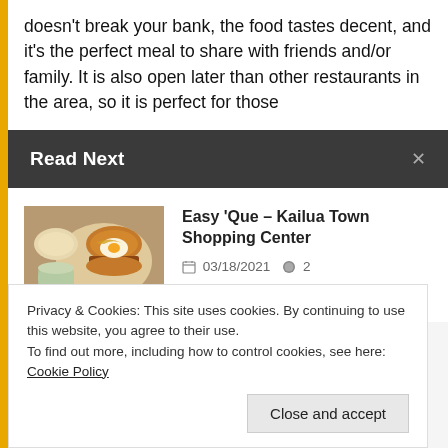doesn't break your bank, the food tastes decent, and it's the perfect meal to share with friends and/or family. It is also open later than other restaurants in the area, so it is perfect for those
Read Next
[Figure (photo): Photo of food — burger and sides on a restaurant table]
Easy 'Que – Kailua Town Shopping Center
03/18/2021  2
Privacy & Cookies: This site uses cookies. By continuing to use this website, you agree to their use.
To find out more, including how to control cookies, see here: Cookie Policy